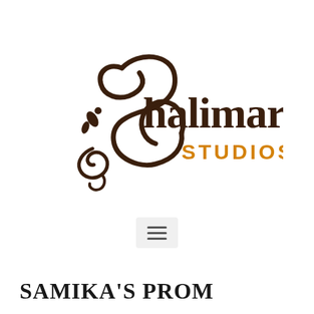[Figure (logo): Shalimar Studios logo: decorative dark brown swirling S with floral flourishes on the left, text 'Shalimar' in dark brown serif font and 'STUDIOS' in orange/amber uppercase sans-serif font on the right]
[Figure (other): Hamburger menu icon (three horizontal lines) inside a light gray rounded rectangle button]
SAMIKA'S PROM